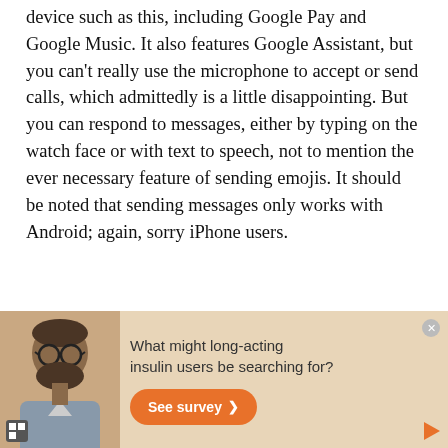device such as this, including Google Pay and Google Music. It also features Google Assistant, but you can't really use the microphone to accept or send calls, which admittedly is a little disappointing. But you can respond to messages, either by typing on the watch face or with text to speech, not to mention the ever necessary feature of sending emojis. It should be noted that sending messages only works with Android; again, sorry iPhone users.
[Figure (other): Advertisement banner with beige background showing a bearded man with glasses, text 'What might long-acting insulin users be searching for?' and an orange 'See survey >' button.]